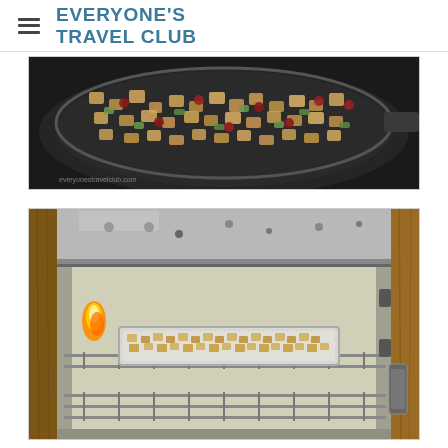EVERYONE'S TRAVEL CLUB
[Figure (photo): Overhead view of a large dark skillet containing a stuffing mixture with diced bread, celery, cranberries, and other ingredients being sautéed]
[Figure (photo): Open boat oven/stove showing a baking pan with bread cubes inside, with a visible gas flame on the left side, set against wood paneling background]